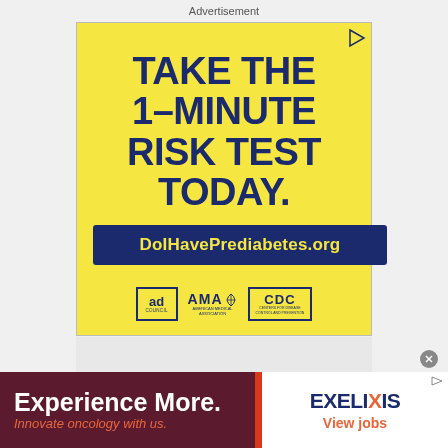Advertisement
[Figure (illustration): Yellow advertisement box for DoIHavePrediabetes.org. Main headline reads 'TAKE THE 1-MINUTE RISK TEST TODAY.' in dark navy bold text. Below is a dark navy rectangle with yellow text reading 'DoIHavePrediabetes.org'. At the bottom are three logos: Ad Council, American Medical Association (AMA), and CDC.]
[Figure (illustration): Bottom banner advertisement for Exelixis. Left side is dark maroon with text 'Experience More.' in white bold and 'Innovate oncology with us.' in orange italic. Right side is white with 'EXELIXIS' logo in dark blue with orange X, and 'View jobs' in orange.]